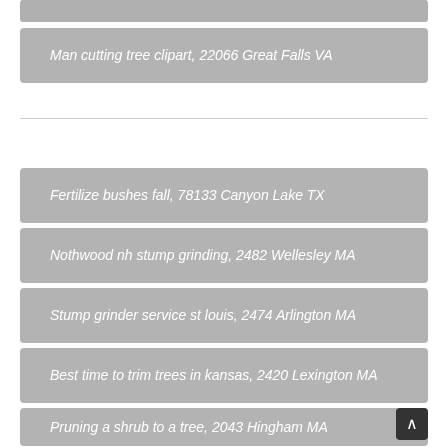Man cutting tree clipart, 22066 Great Falls VA
Fertilize bushes fall, 78133 Canyon Lake TX
Nothwood nh stump grinding, 2482 Wellesley MA
Stump grinder service st louis, 2474 Arlington MA
Best time to trim trees in kansas, 2420 Lexington MA
Pruning a shrub to a tree, 2043 Hingham MA